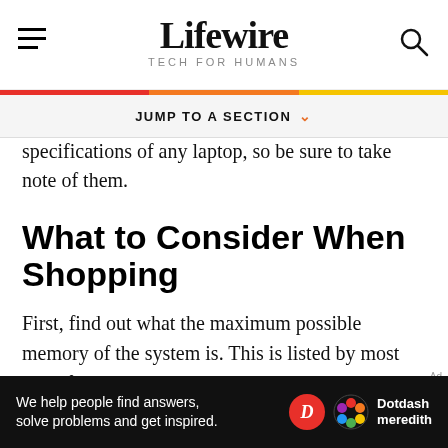Lifewire TECH FOR HUMANS
JUMP TO A SECTION
specifications of any laptop, so be sure to take note of them.
What to Consider When Shopping
First, find out what the maximum possible memory of the system is. This is listed by most manufacturers and indicates the upgrade potential of the system
We help people find answers, solve problems and get inspired. Dotdash meredith